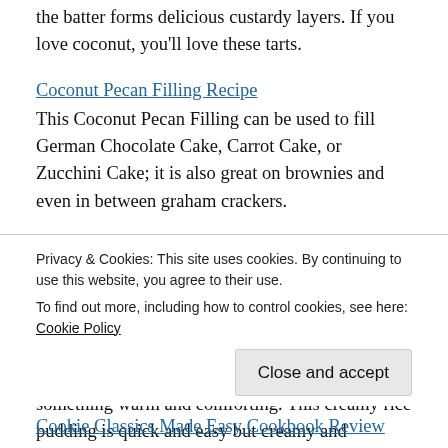the batter forms delicious custardy layers. If you love coconut, you'll love these tarts.
Coconut Pecan Filling Recipe
This Coconut Pecan Filling can be used to fill German Chocolate Cake, Carrot Cake, or Zucchini Cake; it is also great on brownies and even in between graham crackers.
Coconut Shortbread Bars Recipe
These easy bars will become a favorite among family and friends. They are quick and easy too.
Comforting Christmas Rice Pudding Recipe
Holiday time is busy, and it's nice to be able to eat something warm and comforting. This creamy rice pudding is quick and easy but creamy and luscious. It
Privacy & Cookies: This site uses cookies. By continuing to use this website, you agree to their use.
To find out more, including how to control cookies, see here: Cookie Policy
Close and accept
Cookie Classics Made Easy Cookbook Review